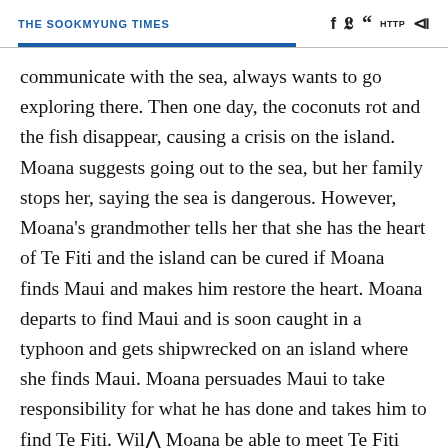THE SOOKMYUNG TIMES
communicate with the sea, always wants to go exploring there. Then one day, the coconuts rot and the fish disappear, causing a crisis on the island. Moana suggests going out to the sea, but her family stops her, saying the sea is dangerous. However, Moana's grandmother tells her that she has the heart of Te Fiti and the island can be cured if Moana finds Maui and makes him restore the heart. Moana departs to find Maui and is soon caught in a typhoon and gets shipwrecked on an island where she finds Maui. Moana persuades Maui to take responsibility for what he has done and takes him to find Te Fiti. Will Moana be able to meet Te Fiti and save her island